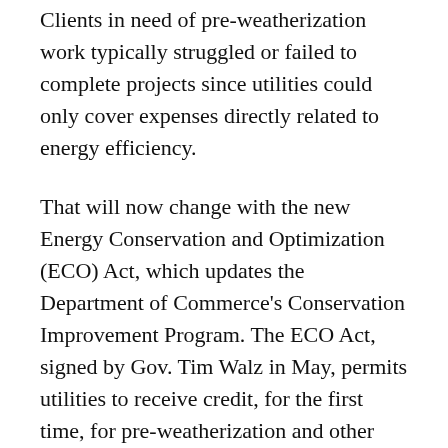Clients in need of pre-weatherization work typically struggled or failed to complete projects since utilities could only cover expenses directly related to energy efficiency.
That will now change with the new Energy Conservation and Optimization (ECO) Act, which updates the Department of Commerce's Conservation Improvement Program. The ECO Act, signed by Gov. Tim Walz in May, permits utilities to receive credit, for the first time, for pre-weatherization and other preparatory work.
Utilities and energy efficiency nonprofits working with low-income building owners applauded the change and said they may revisit clients who could